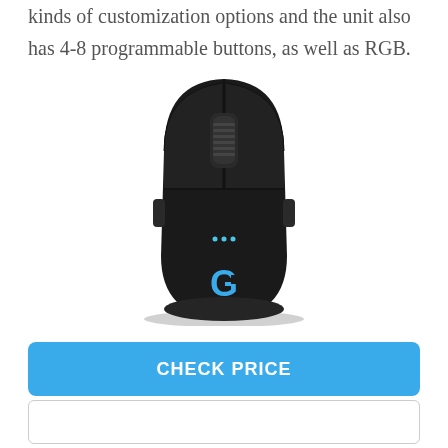kinds of customization options and the unit also has 4-8 programmable buttons, as well as RGB.
[Figure (photo): Logitech G Pro Wireless gaming mouse, black, top-down view showing scroll wheel, two blue LED dots, and Logitech G logo in blue on lower portion]
CHECK PRICE